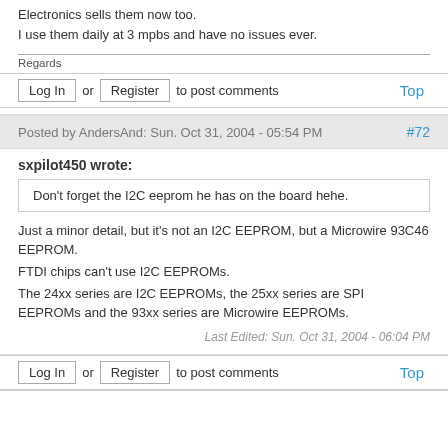Electronics sells them now too.
I use them daily at 3 mpbs and have no issues ever.
Regards
Log In or Register to post comments   Top
Posted by AndersAnd: Sun. Oct 31, 2004 - 05:54 PM   #72
sxpilot450 wrote:
Don't forget the I2C eeprom he has on the board hehe.
Just a minor detail, but it's not an I2C EEPROM, but a Microwire 93C46 EEPROM.
FTDI chips can't use I2C EEPROMs.
The 24xx series are I2C EEPROMs, the 25xx series are SPI EEPROMs and the 93xx series are Microwire EEPROMs.
Last Edited: Sun. Oct 31, 2004 - 06:04 PM
Log In or Register to post comments   Top